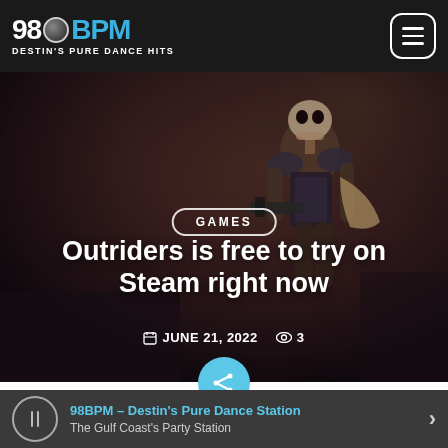98BPM – DESTIN'S PURE DANCE HITS
[Figure (screenshot): Hero background image of a skeletal armored warrior character from the game Outriders, dark reddish-brown atmospheric background]
GAMES
Outriders is free to try on Steam right now
JUNE 21, 2022  3
Outriders is gearing up for its first big DLC release, and that
98BPM – Destin's Pure Dance Station
The Gulf Coast's Party Station